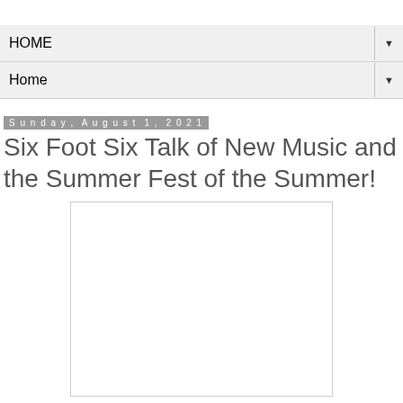HOME
Home
Sunday, August 1, 2021
Six Foot Six Talk of New Music and the Summer Fest of the Summer!
[Figure (photo): Blank/placeholder image area with light border]